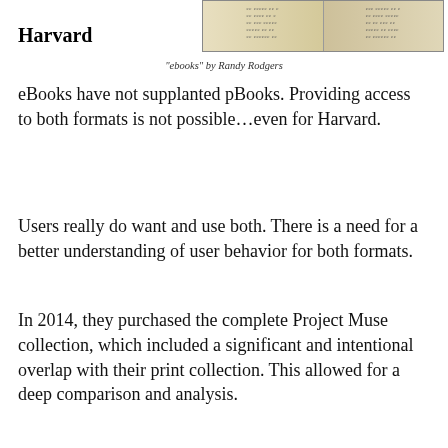Harvard
[Figure (photo): A photograph of open book pages, appearing old or antique with text visible on both pages.]
“ebooks” by Randy Rodgers
eBooks have not supplanted pBooks. Providing access to both formats is not possible…even for Harvard.
Users really do want and use both. There is a need for a better understanding of user behavior for both formats.
In 2014, they purchased the complete Project Muse collection, which included a significant and intentional overlap with their print collection. This allowed for a deep comparison and analysis.